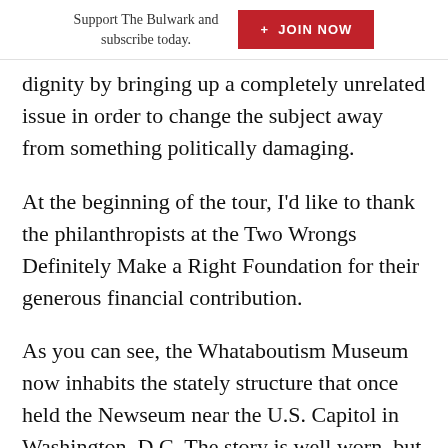Support The Bulwark and subscribe today. + JOIN NOW
dignity by bringing up a completely unrelated issue in order to change the subject away from something politically damaging.
At the beginning of the tour, I’d like to thank the philanthropists at the Two Wrongs Definitely Make a Right Foundation for their generous financial contribution.
As you can see, the Whataboutism Museum now inhabits the stately structure that once held the Newseum near the U.S. Capitol in Washington, D.C. The story is well worn, but it’s worth telling